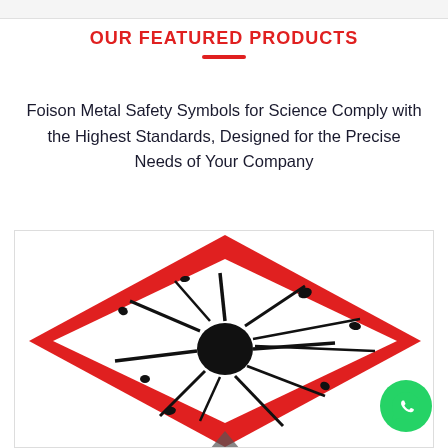OUR FEATURED PRODUCTS
Foison Metal Safety Symbols for Science Comply with the Highest Standards, Designed for the Precise Needs of Your Company
[Figure (illustration): GHS hazard pictogram: explosive symbol inside a red diamond/rhombus border on white background. Black explosion burst graphic centered in the diamond. Partially visible at bottom.]